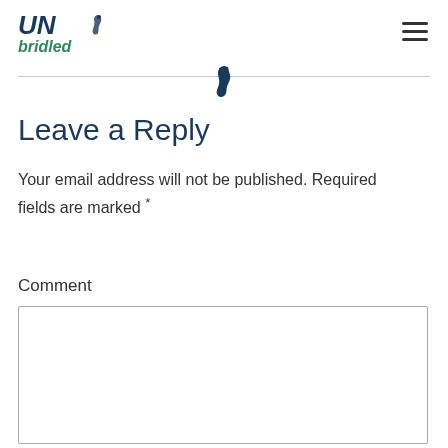UN Bridled
[Figure (logo): UN Bridled logo with seahorse graphic, teal and dark blue colors]
Leave a Reply
Your email address will not be published. Required fields are marked *
Comment